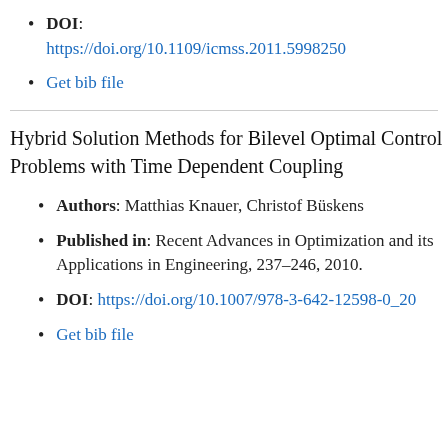DOI: https://doi.org/10.1109/icmss.2011.5998250
Get bib file
Hybrid Solution Methods for Bilevel Optimal Control Problems with Time Dependent Coupling
Authors: Matthias Knauer, Christof Büskens
Published in: Recent Advances in Optimization and its Applications in Engineering, 237–246, 2010.
DOI: https://doi.org/10.1007/978-3-642-12598-0_20
Get bib file